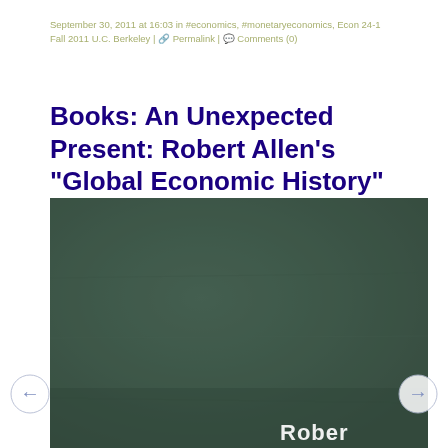September 30, 2011 at 16:03 in #economics, #monetaryeconomics, Econ 24-1 Fall 2011 U.C. Berkeley | Permalink | Comments (0)
Books: An Unexpected Present: Robert Allen's "Global Economic History"
[Figure (photo): A dark green book cover, partially visible, showing the text 'Robert' in white at the bottom right corner. The cover appears to be for Robert Allen's 'Global Economic History'.]